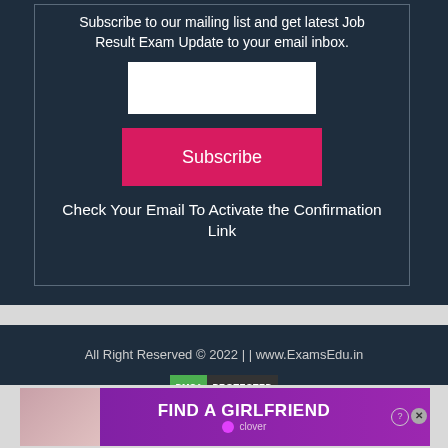Subscribe to our mailing list and get latest Job Result Exam Update to your email inbox.
[Figure (other): Email input field (white rectangle)]
[Figure (other): Subscribe button (pink/red rectangle with white text 'Subscribe')]
Check Your Email To Activate the Confirmation Link
All Right Reserved © 2022 | | www.ExamsEdu.in
[Figure (other): DMCA Protected badge — green and dark segments]
[Figure (other): Advertisement banner: FIND A GIRLFRIEND — clover app ad with photo of woman]